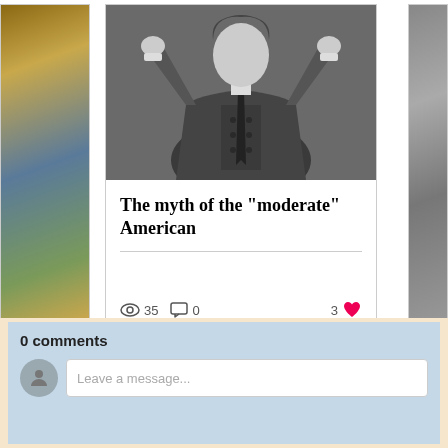[Figure (photo): Partial left card showing a painting/portrait with warm colors]
[Figure (photo): Center card with black and white photo of a man in a double-breasted suit with hands raised]
The myth of the "moderate" American
35 views, 0 comments, 3 likes
[Figure (photo): Partial right card showing a crowd scene in color]
0 comments
Leave a message...